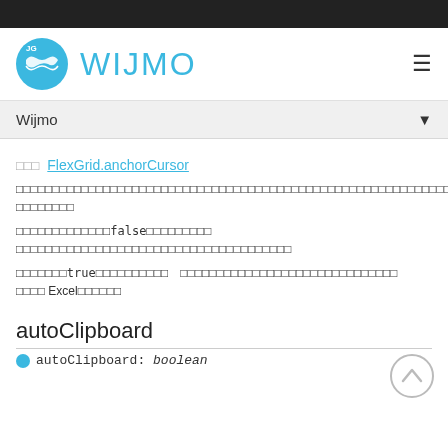[Figure (logo): Wijmo logo: blue circle with white bow-tie/mask shape and 'JG' text, next to 'WIJMO' text in light blue]
Wijmo
FlexGrid.anchorCursor
Japanese text describing anchorCursor property behavior
Japanese text describing false behavior
Japanese text describing true behavior with Excel reference
autoClipboard
autoClipboard: boolean